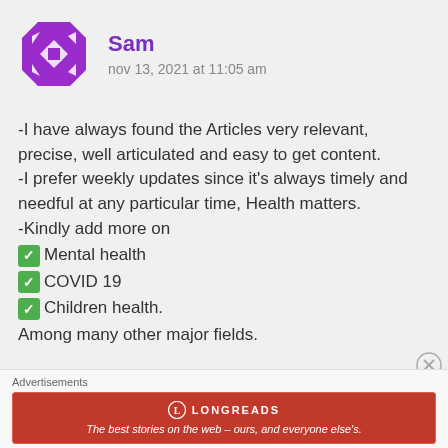[Figure (illustration): Purple octagon avatar icon with white arrow/triangle shapes]
Sam
nov 13, 2021 at 11:05 am
-I have always found the Articles very relevant, precise, well articulated and easy to get content.
-I prefer weekly updates since it’s always timely and needful at any particular time, Health matters.
-Kindly add more on
✅Mental health
✅COVID 19
✅ Children health.
Among many other major fields.
Advertisements
[Figure (illustration): Longreads red advertisement banner: The best stories on the web – ours, and everyone else’s.]